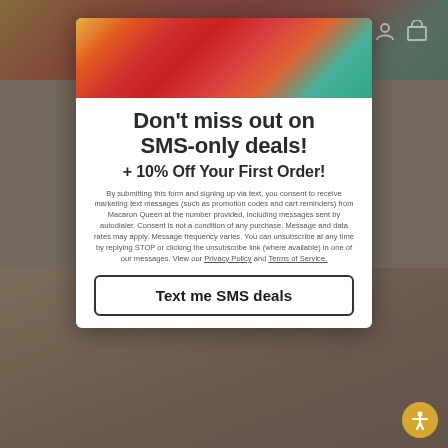[Figure (screenshot): Background webpage of Macaron Queen website with macaron photos and dimmed overlay]
[Figure (photo): Colorful macarons photo banner at top of modal popup]
Don't miss out on SMS-only deals!
+ 10% Off Your First Order!
By submitting this form and signing up via text, you consent to receive marketing text messages (such as promotion codes and cart reminders) from Macaron Queen at the number provided, including messages sent by autodialer. Consent is not a condition of any purchase. Message and data rates may apply. Message frequency varies. You can unsubscribe at any time by replying STOP or clicking the unsubscribe link (where available) in one of our messages. View our Privacy Policy and Terms of Service.
Text me SMS deals